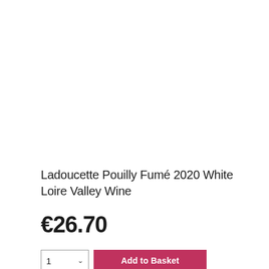[Figure (photo): Product image area — white/blank space where wine bottle photo would appear]
Ladoucette Pouilly Fumé 2020 White Loire Valley Wine
€26.70
1  ∨   Add to Basket